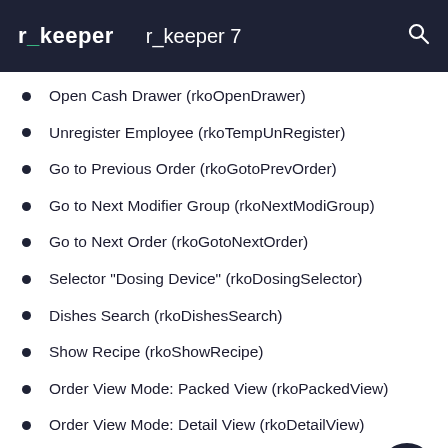r_keeper   r_keeper 7
Open Cash Drawer (rkoOpenDrawer)
Unregister Employee (rkoTempUnRegister)
Go to Previous Order (rkoGotoPrevOrder)
Go to Next Modifier Group (rkoNextModiGroup)
Go to Next Order (rkoGotoNextOrder)
Selector "Dosing Device" (rkoDosingSelector)
Dishes Search (rkoDishesSearch)
Show Recipe (rkoShowRecipe)
Order View Mode: Packed View (rkoPackedView)
Order View Mode: Detail View (rkoDetailView)
Edit Order Properties (rkoEditOrderProps)